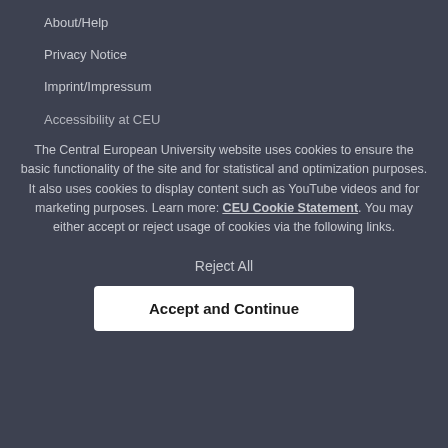About/Help
Privacy Notice
Imprint/Impressum
Accessibility at CEU
The Central European University website uses cookies to ensure the basic functionality of the site and for statistical and optimization purposes. It also uses cookies to display content such as YouTube videos and for marketing purposes. Learn more: CEU Cookie Statement. You may either accept or reject usage of cookies via the following links.
Reject All
Accept and Continue